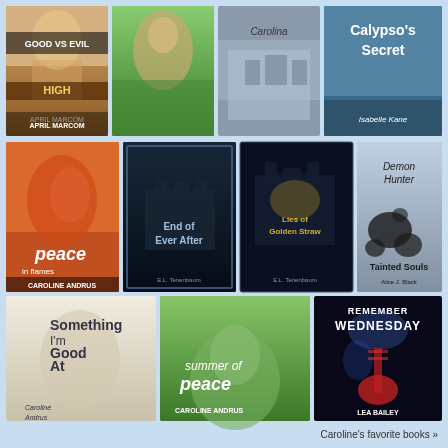[Figure (illustration): Grid of book covers arranged in three rows. Row 1 (4 books): Good vs Evil High by April Marcom, a romance novel with couple on field, Carolina (title partially visible) with couple and mansion, Calypso's Secret by Isabelle Kane. Row 2 (4 books): Peace in Flames by Caroline Andrus, End of Ever After by E.L. Tenenbaum, Lies of Golden Straw by E.L. Tenenbaum, Demon Hunter Tainted Souls by Alice J. Black. Row 3 (3 books): Something I'm Good At by Caroline Andrus, Summer of Peace by Caroline Andrus, Remember Wednesday by Lea Bailey.]
Caroline's favorite books »